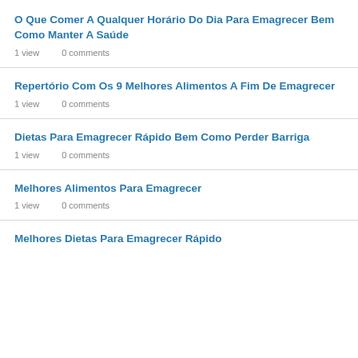O Que Comer A Qualquer Horário Do Dia Para Emagrecer Bem Como Manter A Saúde
1 view   0 comments
Repertório Com Os 9 Melhores Alimentos A Fim De Emagrecer
1 view   0 comments
Dietas Para Emagrecer Rápido Bem Como Perder Barriga
1 view   0 comments
Melhores Alimentos Para Emagrecer
1 view   0 comments
Melhores Dietas Para Emagrecer Rápido